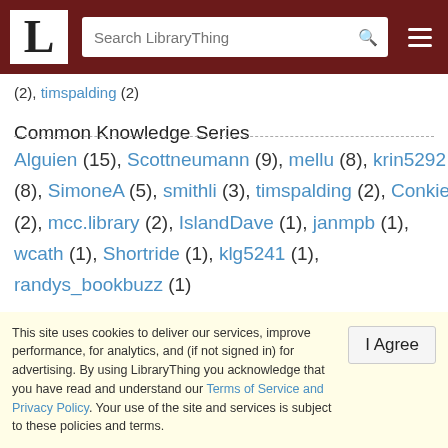LibraryThing - Search LibraryThing
(2), timspalding (2)
Common Knowledge Series
Alguien (15), Scottneumann (9), mellu (8), krin5292 (8), SimoneA (5), smithli (3), timspalding (2), Conkie (2), mcc.library (2), IslandDave (1), janmpb (1), wcath (1), Shortride (1), klg5241 (1), randys_bookbuzz (1)
This site uses cookies to deliver our services, improve performance, for analytics, and (if not signed in) for advertising. By using LibraryThing you acknowledge that you have read and understand our Terms of Service and Privacy Policy. Your use of the site and services is subject to these policies and terms.